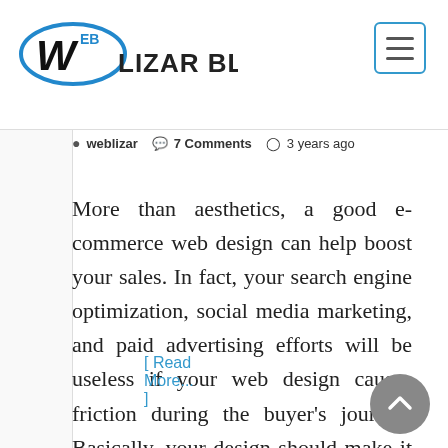WEB LIZAR BLOG
weblizar  7 Comments  3 years ago
More than aesthetics, a good e-commerce web design can help boost your sales. In fact, your search engine optimization, social media marketing, and paid advertising efforts will be useless if your web design causes friction during the buyer's journey. Basically, your design should make it easy for customers to do the following: Search for the
[ Read More... ]